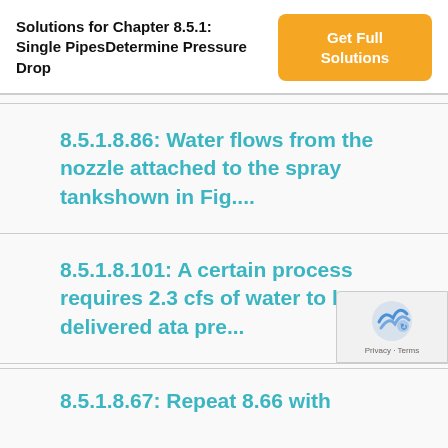Solutions for Chapter 8.5.1: Single PipesDetermine Pressure Drop
Get Full Solutions
8.5.1.8.86: Water flows from the nozzle attached to the spray tankshown in Fig....
8.5.1.8.101: A certain process requires 2.3 cfs of water to be delivered ata pre...
8.5.1.8.67: Repeat 8.66 with